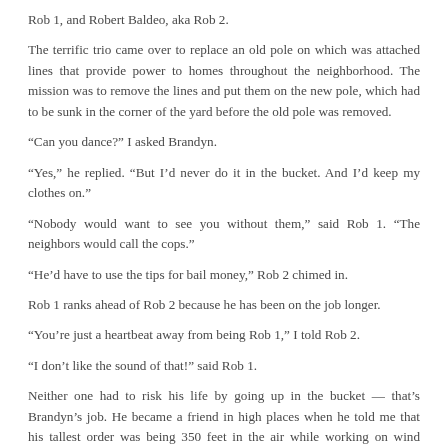Rob 1, and Robert Baldeo, aka Rob 2.
The terrific trio came over to replace an old pole on which was attached lines that provide power to homes throughout the neighborhood. The mission was to remove the lines and put them on the new pole, which had to be sunk in the corner of the yard before the old pole was removed.
“Can you dance?” I asked Brandyn.
“Yes,” he replied. “But I’d never do it in the bucket. And I’d keep my clothes on.”
“Nobody would want to see you without them,” said Rob 1. “The neighbors would call the cops.”
“He’d have to use the tips for bail money,” Rob 2 chimed in.
Rob 1 ranks ahead of Rob 2 because he has been on the job longer.
“You’re just a heartbeat away from being Rob 1,” I told Rob 2.
“I don’t like the sound of that!” said Rob 1.
Neither one had to risk his life by going up in the bucket — that’s Brandyn’s job. He became a friend in high places when he told me that his tallest order was being 350 feet in the air while working on wind turbines in Iowa, his home state.